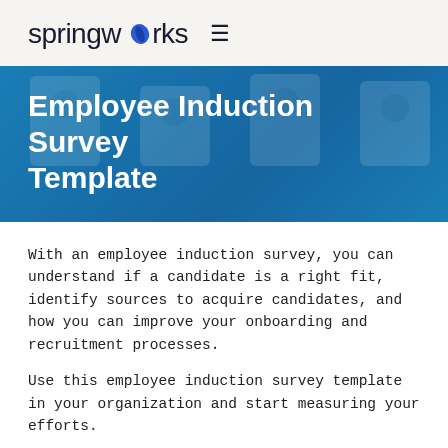springworks ≡
Employee Induction Survey Template
With an employee induction survey, you can understand if a candidate is a right fit, identify sources to acquire candidates, and how you can improve your onboarding and recruitment processes.
Use this employee induction survey template in your organization and start measuring your efforts.
Standard Employee Induction Survey
Length: Between 10-15 questions